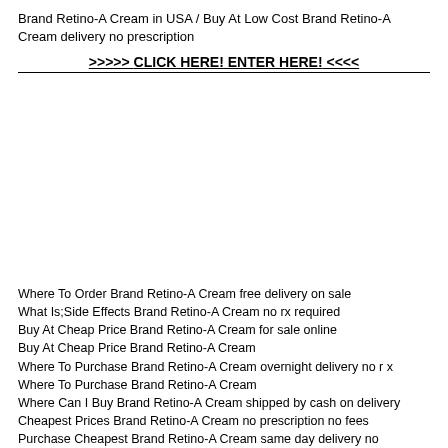Brand Retino-A Cream in USA / Buy At Low Cost Brand Retino-A Cream delivery no prescription
>>>>> CLICK HERE! ENTER HERE! <<<<<
Where To Order Brand Retino-A Cream free delivery on sale
What Is;Side Effects Brand Retino-A Cream no rx required
Buy At Cheap Price Brand Retino-A Cream for sale online
Buy At Cheap Price Brand Retino-A Cream
Where To Purchase Brand Retino-A Cream overnight delivery no r x
Where To Purchase Brand Retino-A Cream
Where Can I Buy Brand Retino-A Cream shipped by cash on delivery
Cheapest Prices Brand Retino-A Cream no prescription no fees
Purchase Cheapest Brand Retino-A Cream same day delivery no prescription
Discount Brand Retino-A Cream no rx required
Buy Online Cheapest Brand Retino-A Cream pharmacy without a prescription
Purchase At Low Cost Brand Retino-A Cream next day delivery
Where Can I Buy Brand Retino-A Cream without a prescription